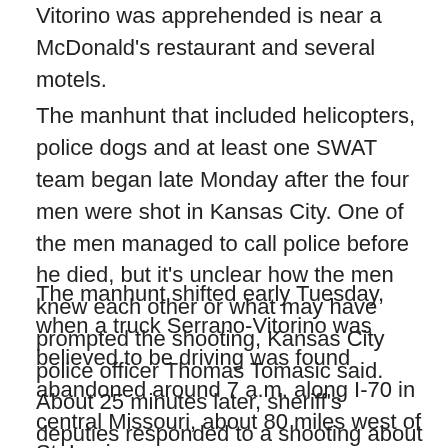Vitorino was apprehended is near a McDonald's restaurant and several motels.
The manhunt that included helicopters, police dogs and at least one SWAT team began late Monday after the four men were shot in Kansas City. One of the men managed to call police before he died, but it's unclear how the men knew each other or what may have prompted the shooting, Kansas City police officer Thomas Tomasic said.
The manhunt shifted early Tuesday, when a truck Serrano-Vitorino was believed to be driving was found abandoned around 7 a.m. along I-70 in central Missouri, about 80 miles west of St. Louis.
About 25 minutes later, sheriff's deputies responded to a shooting about 5 miles away at a Montgomery County home and found the body of 49-year-old Nordman